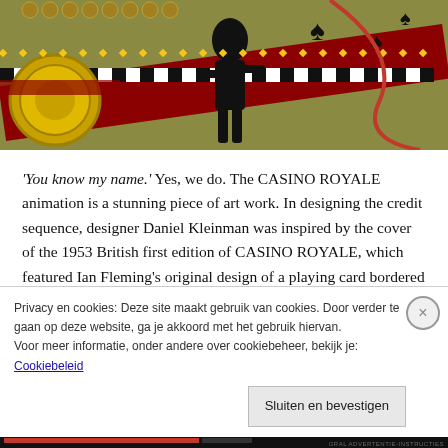[Figure (photo): Casino Royale decorative playing card animation artwork — dark silhouette figure on ornate gold/red card background with spade symbols and checkered border pattern]
'You know my name.' Yes, we do. The CASINO ROYALE animation is a stunning piece of art work. In designing the credit sequence, designer Daniel Kleinman was inspired by the cover of the 1953 British first edition of CASINO ROYALE, which featured Ian Fleming's original design of a playing card bordered by eight red hearts dripping with blood. The scene ends with Bond's double 0 status being
Privacy en cookies: Deze site maakt gebruik van cookies. Door verder te gaan op deze website, ga je akkoord met het gebruik hiervan.
Voor meer informatie, onder andere over cookiebeheer, bekijk je:
Cookiebeleid
Sluiten en bevestigen